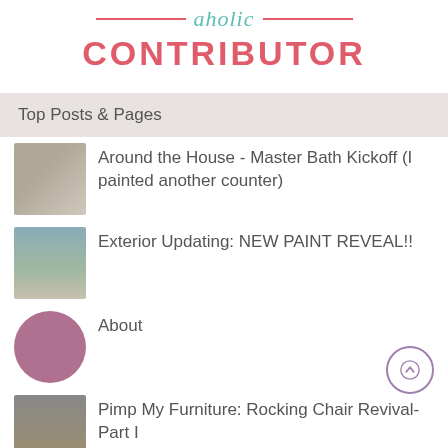[Figure (logo): Badge/logo graphic showing 'aholic CONTRIBUTOR' with decorative red lines, teal italic 'aholic' text, and bold red 'CONTRIBUTOR' text]
Top Posts & Pages
Around the House - Master Bath Kickoff (I painted another counter)
Exterior Updating: NEW PAINT REVEAL!!
About
Pimp My Furniture: Rocking Chair Revival- Part I
Pimp My Furniture: A Big Girl Brass Bed
State Track and Advice from